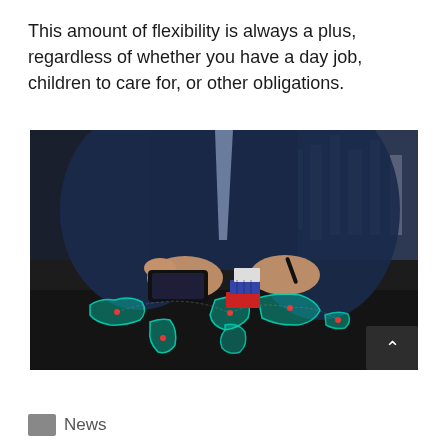This amount of flexibility is always a plus, regardless of whether you have a day job, children to care for, or other obligations.
[Figure (photo): A businessman in a dark suit interacting with a holographic global logistics map on a table, showing shipping containers and trade routes connecting highlighted regions across a world map.]
News